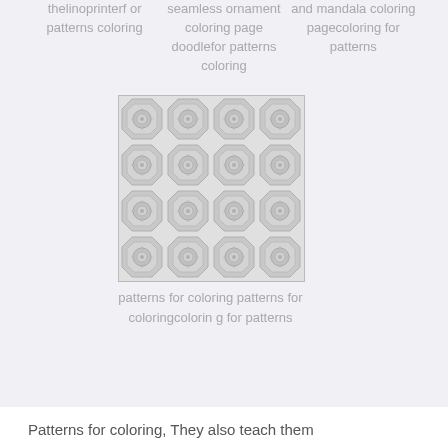thelinoprinterfor patterns coloring
seamless ornament coloring page doodlefor patterns coloring
and mandala coloring pagecoloring for patterns
[Figure (illustration): A square thumbnail image showing a repeating geometric mandala/ornament pattern in grey and white tones, arranged in a grid.]
patterns for coloring patterns for coloringcolorin g for patterns
Patterns for coloring, They also teach them